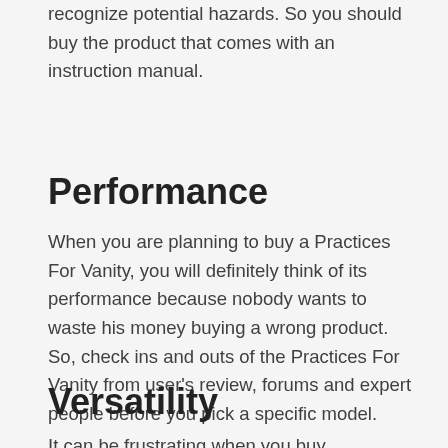recognize potential hazards. So you should buy the product that comes with an instruction manual.
Performance
When you are planning to buy a Practices For Vanity, you will definitely think of its performance because nobody wants to waste his money buying a wrong product. So, check ins and outs of the Practices For Vanity from user's review, forums and expert people before you pick a specific model.
Versatility
It can be frustrating when you buy something and then it turns out the